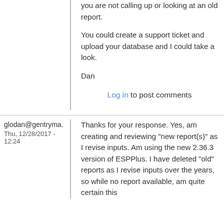you are not calling up or looking at an old report.
You could create a support ticket and upload your database and I could take a look.
Dan
Log in to post comments
glodan@gentryma.
Thu, 12/28/2017 - 12:24
Thanks for your response. Yes, am creating and reviewing "new report(s)" as I revise inputs. Am using the new 2.36.3 version of ESPPlus. I have deleted "old" reports as I revise inputs over the years, so while no report available, am quite certain this